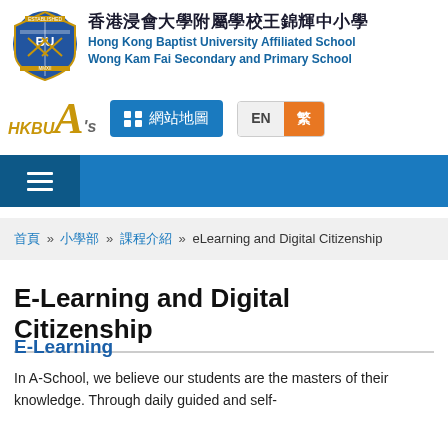[Figure (logo): Hong Kong Baptist University Affiliated School Wong Kam Fai Secondary and Primary School shield logo with BU text]
香港浸會大學附屬學校王錦輝中小學
Hong Kong Baptist University Affiliated School
Wong Kam Fai Secondary and Primary School
[Figure (logo): HKBU A's logo in gold italic text]
網站地圖
EN | 繁
≡ (hamburger menu)
首頁 » 小學部 » 課程介紹 » eLearning and Digital Citizenship
E-Learning and Digital Citizenship
E-Learning
In A-School, we believe our students are the masters of their knowledge. Through daily guided and self-